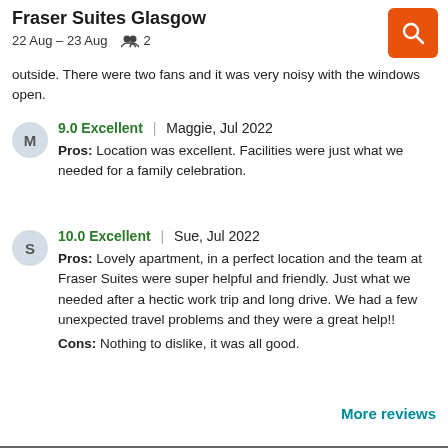Fraser Suites Glasgow | 22 Aug – 23 Aug | 2 guests
outside. There were two fans and it was very noisy with the windows open.
9.0 Excellent | Maggie, Jul 2022
Pros: Location was excellent. Facilities were just what we needed for a family celebration.
10.0 Excellent | Sue, Jul 2022
Pros: Lovely apartment, in a perfect location and the team at Fraser Suites were super helpful and friendly. Just what we needed after a hectic work trip and long drive. We had a few unexpected travel problems and they were a great help!!
Cons: Nothing to dislike, it was all good.
More reviews